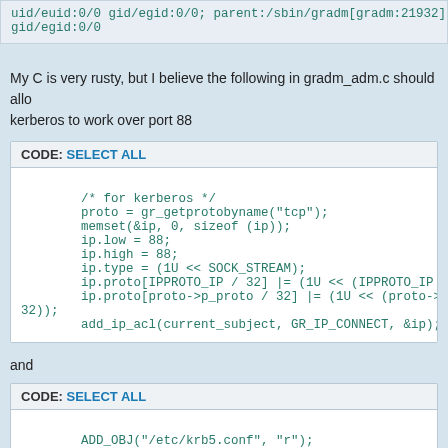uid/euid:0/0 gid/egid:0/0; parent:/sbin/gradm[gradm:21932] uid/euid:0/0 gid/egid:0/0
My C is very rusty, but I believe the following in gradm_adm.c should allow kerberos to work over port 88
CODE: SELECT ALL
/* for kerberos */
        proto = gr_getprotobyname("tcp");
        memset(&ip, 0, sizeof (ip));
        ip.low = 88;
        ip.high = 88;
        ip.type = (1U << SOCK_STREAM);
        ip.proto[IPPROTO_IP / 32] |= (1U << (IPPROTO_IP % 3
        ip.proto[proto->p_proto / 32] |= (1U << (proto->p_p
32));
        add_ip_acl(current_subject, GR_IP_CONNECT, &ip);
and
CODE: SELECT ALL
ADD_OBJ("/etc/krb5.conf", "r");